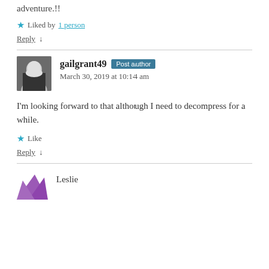adventure.!!
★ Liked by 1 person
Reply ↓
gailgrant49  Post author
March 30, 2019 at 10:14 am
I'm looking forward to that although I need to decompress for a while.
★ Like
Reply ↓
Leslie